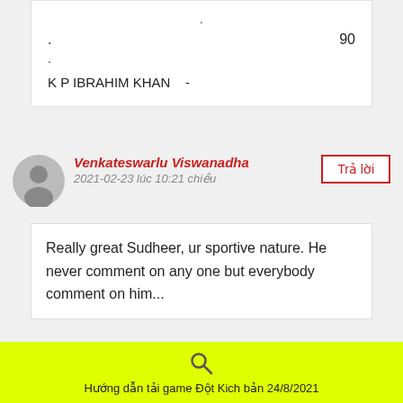. 90 . K P IBRAHIM KHAN -
Venkateswarlu Viswanadha
2021-02-23 lúc 10:21 chiều
Trả lời
Really great Sudheer, ur sportive nature. He never comment on any one but everybody comment on him...
Bhaskar Raj
Trả lời
Hướng dẫn tải game Đột Kich bản 24/8/2021